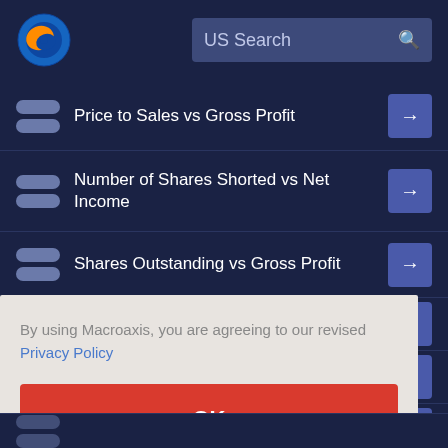[Figure (logo): Macroaxis globe logo — orange and blue circular icon]
US Search
Price to Sales vs Gross Profit
Number of Shares Shorted vs Net Income
Shares Outstanding vs Gross Profit
By using Macroaxis, you are agreeing to our revised Privacy Policy
OK